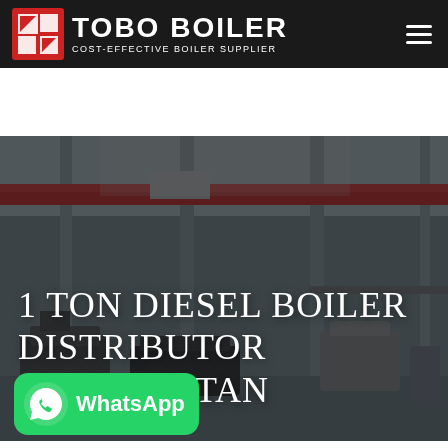TOBO BOILER – COST-EFFECTIVE BOILER SUPPLIER
[Figure (photo): Industrial boiler manufacturing facility interior with large equipment, red overhead crane, and machinery on the floor, dimly lit warehouse setting]
1 TON DIESEL BOILER DISTRIBUTOR KYRGYZSTAN
[Figure (logo): WhatsApp button – green rounded rectangle with WhatsApp phone icon and text 'WhatsApp']